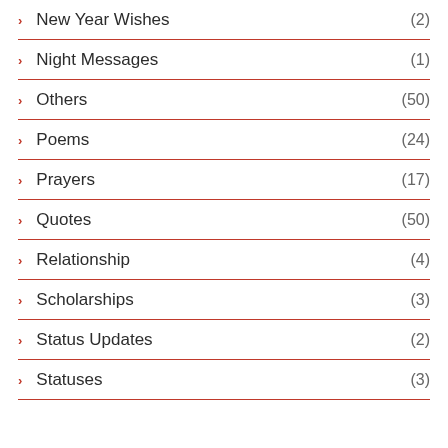New Year Wishes (2)
Night Messages (1)
Others (50)
Poems (24)
Prayers (17)
Quotes (50)
Relationship (4)
Scholarships (3)
Status Updates (2)
Statuses (3)